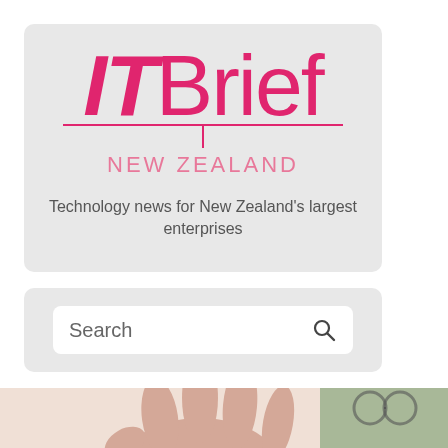[Figure (logo): IT Brief New Zealand logo on a light grey rounded rectangle background. 'IT' in bold italic pink, 'Brief' in regular pink, with a horizontal pink line and tick below, and 'NEW ZEALAND' in spaced pink letters. Tagline: 'Technology news for New Zealand's largest enterprises']
[Figure (screenshot): Search bar widget on light grey rounded rectangle background, with white search input box containing the placeholder text 'Search' and a magnifying glass icon on the right]
[Figure (photo): Partial photo showing a hand with fingers raised and a person wearing glasses, cropped at the bottom of the page]